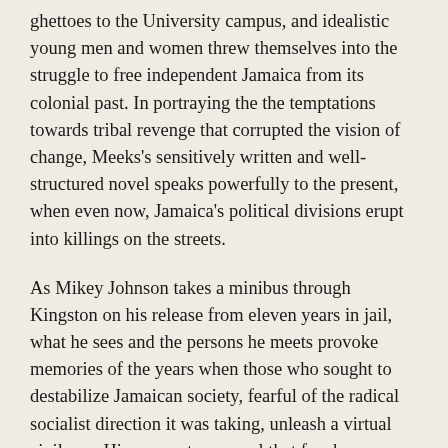ghettoes to the University campus, and idealistic young men and women threw themselves into the struggle to free independent Jamaica from its colonial past. In portraying the the temptations towards tribal revenge that corrupted the vision of change, Meeks's sensitively written and well-structured novel speaks powerfully to the present, when even now, Jamaica's political divisions erupt into killings on the streets.
As Mikey Johnson takes a minibus through Kingston on his release from eleven years in jail, what he sees and the persons he meets provoke memories of the years when those who sought to destabilize Jamaican society, fearful of the radical socialist direction it was taking, unleash a virtual civil war. His encounters reveal that few have escaped unscathed from those years: there are the dead (in body and in spirit), the wounded, the turncoats, and those like himself who are condemned